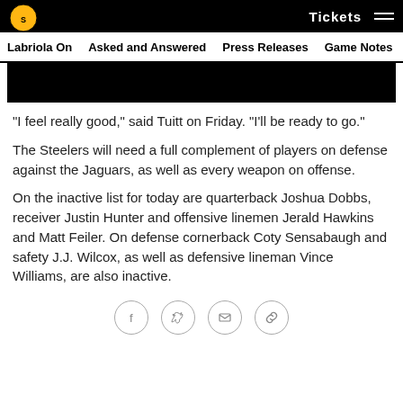Tickets | Nav menu | Labriola On | Asked and Answered | Press Releases | Game Notes
[Figure (photo): Black rectangular image banner at top of article]
"I feel really good," said Tuitt on Friday. "I'll be ready to go."
The Steelers will need a full complement of players on defense against the Jaguars, as well as every weapon on offense.
On the inactive list for today are quarterback Joshua Dobbs, receiver Justin Hunter and offensive linemen Jerald Hawkins and Matt Feiler. On defense cornerback Coty Sensabaugh and safety J.J. Wilcox, as well as defensive lineman Vince Williams, are also inactive.
[Figure (infographic): Social sharing icons: Facebook, Twitter, Email, Link]